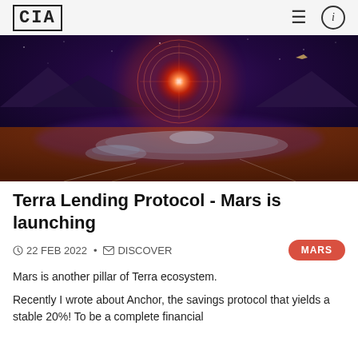CIA
[Figure (photo): Futuristic Mars base with glowing red energy dome, circular structures on reddish terrain under a dark starry sky.]
Terra Lending Protocol - Mars is launching
22 FEB 2022 · DISCOVER  MARS
Mars is another pillar of Terra ecosystem.
Recently I wrote about Anchor, the savings protocol that yields a stable 20%! To be a complete financial